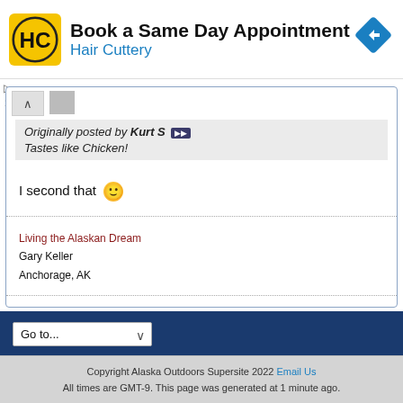[Figure (other): Hair Cuttery advertisement banner with yellow HC logo, navigation arrow icon, text 'Book a Same Day Appointment' and 'Hair Cuttery']
Originally posted by Kurt S ▶▶
Tastes like Chicken!
I second that 🙂
Living the Alaskan Dream
Gary Keller
Anchorage, AK
Go to...
Copyright Alaska Outdoors Supersite 2022 Email Us
All times are GMT-9. This page was generated at 1 minute ago.